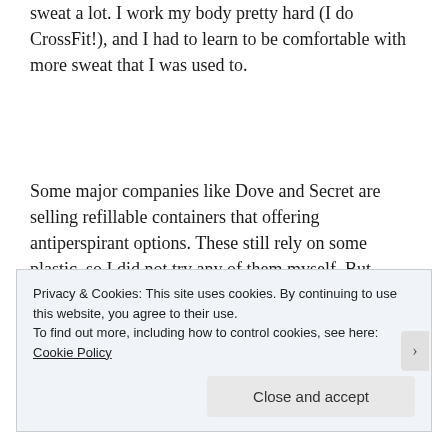sweat a lot. I work my body pretty hard (I do CrossFit!), and I had to learn to be comfortable with more sweat that I was used to.
Some major companies like Dove and Secret are selling refillable containers that offering antiperspirant options. These still rely on some plastic, so I did not try any of them myself. But
Privacy & Cookies: This site uses cookies. By continuing to use this website, you agree to their use.
To find out more, including how to control cookies, see here: Cookie Policy
Close and accept